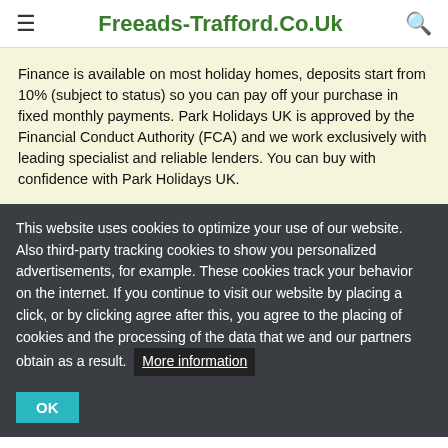≡  Freeads-Trafford.Co.Uk  🔍
Finance is available on most holiday homes, deposits start from 10% (subject to status) so you can pay off your purchase in fixed monthly payments. Park Holidays UK is approved by the Financial Conduct Authority (FCA) and we work exclusively with leading specialist and reliable lenders. You can buy with confidence with Park Holidays UK.
This website uses cookies to optimize your use of our website. Also third-party tracking cookies to show you personalized advertisements, for example. These cookies track your behavior on the internet. If you continue to visit our website by placing a click, or by clicking agree after this, you agree to the placing of cookies and the processing of the data that we and our partners obtain as a result. More information OK